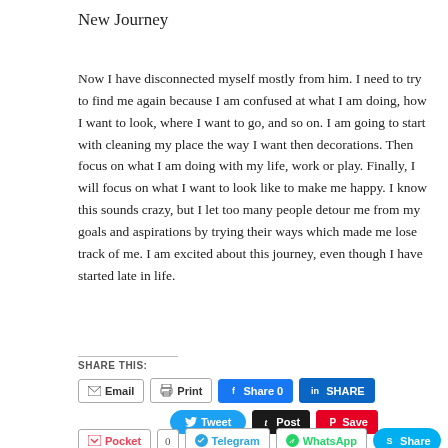New Journey
Now I have disconnected myself mostly from him. I need to try to find me again because I am confused at what I am doing, how I want to look, where I want to go, and so on. I am going to start with cleaning my place the way I want then decorations. Then focus on what I am doing with my life, work or play. Finally, I will focus on what I want to look like to make me happy. I know this sounds crazy, but I let too many people detour me from my goals and aspirations by trying their ways which made me lose track of me. I am excited about this journey, even though I have started late in life.
SHARE THIS:
Email  Print  Share 0  SHARE  Tweet  Post  Save  Pocket  0  Telegram  WhatsApp  Share